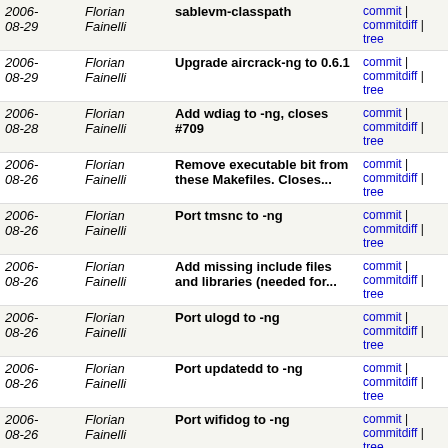| Date | Author | Message | Links |
| --- | --- | --- | --- |
| 2006-08-29 | Florian Fainelli | sablevm-classpath | commit | commitdiff | tree |
| 2006-08-29 | Florian Fainelli | Upgrade aircrack-ng to 0.6.1 | commit | commitdiff | tree |
| 2006-08-28 | Florian Fainelli | Add wdiag to -ng, closes #709 | commit | commitdiff | tree |
| 2006-08-26 | Florian Fainelli | Remove executable bit from these Makefiles. Closes... | commit | commitdiff | tree |
| 2006-08-26 | Florian Fainelli | Port tmsnc to -ng | commit | commitdiff | tree |
| 2006-08-26 | Florian Fainelli | Add missing include files and libraries (needed for... | commit | commitdiff | tree |
| 2006-08-26 | Florian Fainelli | Port ulogd to -ng | commit | commitdiff | tree |
| 2006-08-26 | Florian Fainelli | Port updatedd to -ng | commit | commitdiff | tree |
| 2006-08-26 | Florian Fainelli | Port wifidog to -ng | commit | commitdiff | tree |
| 2006-08-26 | Florian Fainelli | Port wiviz to -ng | commit | commitdiff | tree |
| 2006-08-25 | Florian Fainelli | Port wknock to -ng | commit | commitdiff | tree |
| 2006-08-25 | Florian Fainelli | Port wrt-radauth to -ng | commit | commitdiff | tree |
| 2006-08-25 | Florian Fainelli | Port vtun to -ng | commit | commitdiff | tree |
next